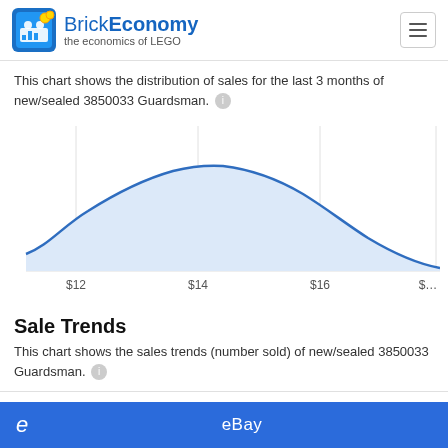BrickEconomy – the economics of LEGO
This chart shows the distribution of sales for the last 3 months of new/sealed 3850033 Guardsman.
[Figure (continuous-plot): Bell-curve style area chart showing price distribution for LEGO 3850033 Guardsman sales over last 3 months. The curve peaks around $14 and tapers off on both sides. The area under the curve is shaded light blue. X-axis labels: $12, $14, $16, $…]
Sale Trends
This chart shows the sales trends (number sold) of new/sealed 3850033 Guardsman.
eBay